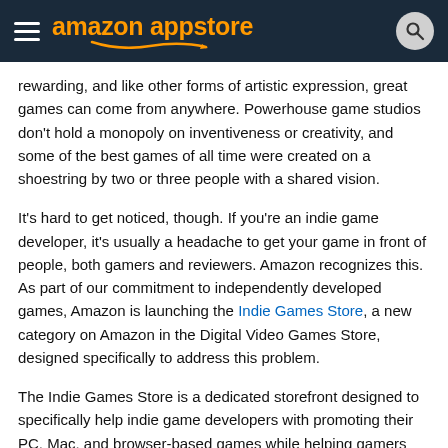amazon appstore
rewarding, and like other forms of artistic expression, great games can come from anywhere. Powerhouse game studios don't hold a monopoly on inventiveness or creativity, and some of the best games of all time were created on a shoestring by two or three people with a shared vision.
It's hard to get noticed, though. If you're an indie game developer, it's usually a headache to get your game in front of people, both gamers and reviewers. Amazon recognizes this. As part of our commitment to independently developed games, Amazon is launching the Indie Games Store, a new category on Amazon in the Digital Video Games Store, designed specifically to address this problem.
The Indie Games Store is a dedicated storefront designed to specifically help indie game developers with promoting their PC, Mac, and browser-based games while helping gamers discover a large and growing selection of innovative indie games.
The dedicated indie-specific storefront offers indie developers several programs to increase discoverability and promote their PC, Mac, and browser-based games while helping customers discover a large and growing selection of innovative indie games including "Don't Starve" by